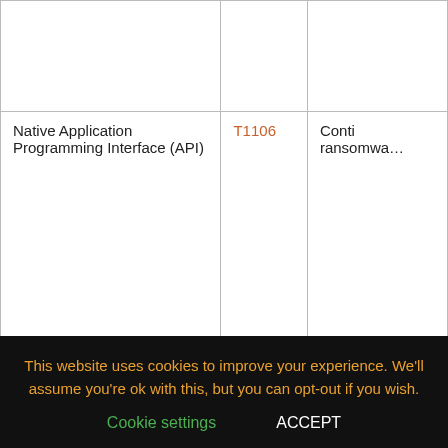|  |  |  |
| --- | --- | --- |
|  |  |  |
| Native Application Programming Interface (API) | T1106 | Conti ransomwa… |
| Persistence |  |  |
| TECHNIQUE TITLE | ID | USE |
| --- | --- | --- |
| Valid Accounts | T1078 | Conti actors hav… access to victim n… |
This website uses cookies to improve your experience. We'll assume you're ok with this, but you can opt-out if you wish.
Cookie settings   ACCEPT